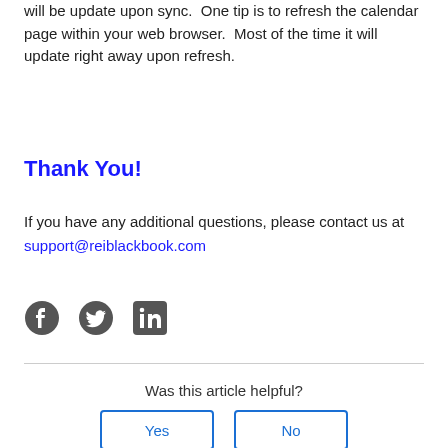will be update upon sync.  One tip is to refresh the calendar page within your web browser.  Most of the time it will update right away upon refresh.
Thank You!
If you have any additional questions, please contact us at support@reiblackbook.com
[Figure (other): Social media icons: Facebook, Twitter, LinkedIn]
Was this article helpful?
Yes   No